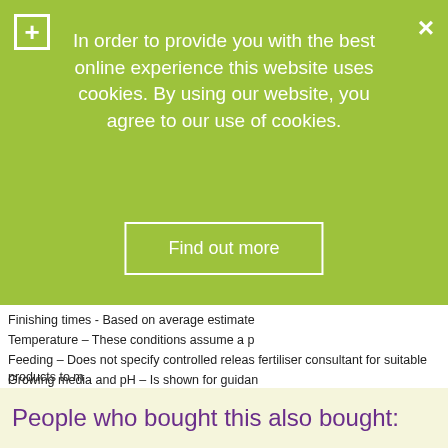In order to provide you with the best online experience this website uses cookies. By using our website, you agree to our use of cookies.
Find out more
Finishing times - Based on average estimate
Temperature – These conditions assume a p
Feeding – Does not specify controlled releas fertiliser consultant for suitable products to m
Growing media and pH – Is shown for guidan
Disclaimer
This information is for guidance purposes onl your growing conditions and local environme
People who bought this also bought: